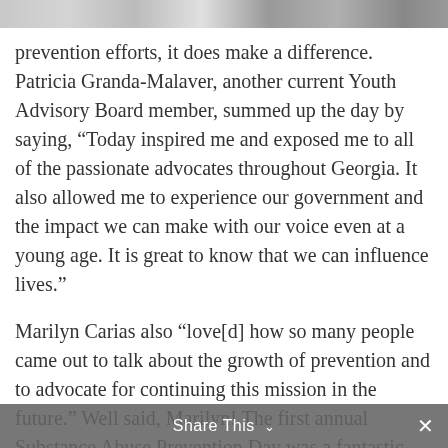[Figure (photo): Partial photo strip at the top of the page showing people, mostly cropped out of view.]
prevention efforts, it does make a difference. Patricia Granda-Malaver, another current Youth Advisory Board member, summed up the day by saying, “Today inspired me and exposed me to all of the passionate advocates throughout Georgia. It also allowed me to experience our government and the impact we can make with our voice even at a young age. It is great to know that we can influence lives.”
Marilyn Carias also “love[d] how so many people came out to talk about the growth of prevention and to advocate for continuing this mission in the future.” Well said, Marilyn! The first annual Substance Abuse Prevention Day was a fantastic first step in establishing our unified voice. If you are involved in substance abuse prevention work in Georgia, we invite you to take this survey from V4P to share what information and assistance you need in order to make the work you are doing in your
Share This